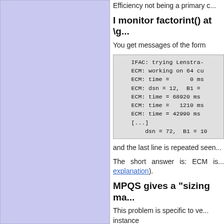Efficiency not being a primary c...
I monitor factorint() at \g...
You get messages of the form
[Figure (screenshot): Code block showing ECM factorization output: IFAC: trying Lenstra-..., ECM: working on 64 cu..., ECM: time = 0 ms..., ECM: dsn = 12, B1 = ..., ECM: time = 68920 ms..., ECM: time = 1210 ms..., ECM: time = 42990 ms..., [...], dsn = 72, B1 = 10...]
and the last line is repeated seen...
The short answer is: ECM is... explanation).
MPQS gives a "sizing ma...
This problem is specific to ve... instance